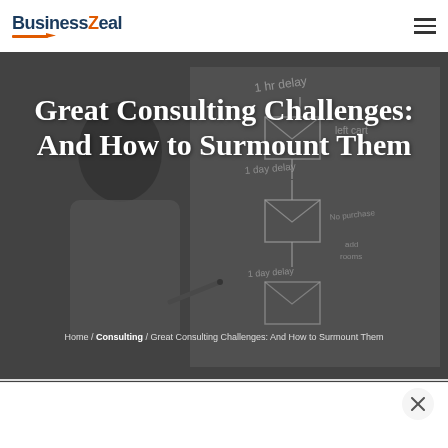BusinessZeal
Great Consulting Challenges: And How to Surmount Them
Home / Consulting / Great Consulting Challenges: And How to Surmount Them
[Figure (photo): Person writing on a whiteboard with flowchart diagrams showing email/delay workflows]